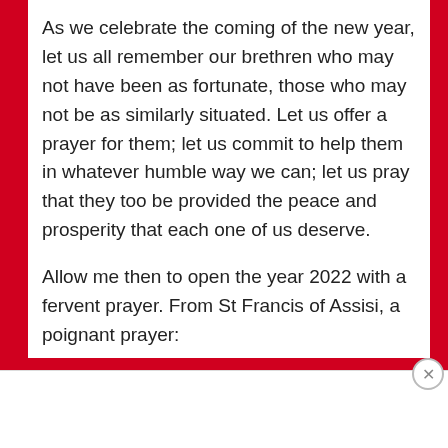As we celebrate the coming of the new year, let us all remember our brethren who may not have been as fortunate, those who may not be as similarly situated. Let us offer a prayer for them; let us commit to help them in whatever humble way we can; let us pray that they too be provided the peace and prosperity that each one of us deserve.
Allow me then to open the year 2022 with a fervent prayer. From St Francis of Assisi, a poignant prayer:
Advertisements
[Figure (illustration): WooCommerce advertisement banner with purple background, teal arrow, and text 'How to start selling subscriptions online']